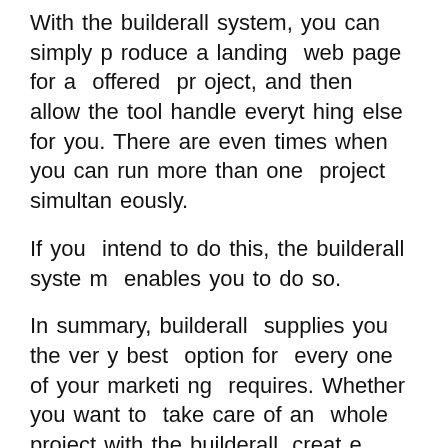With the builderall system, you can simply produce a landing web page for a offered project, and then allow the tool handle everything else for you. There are even times when you can run more than one project simultaneously.
If you intend to do this, the builderall system enables you to do so.
In summary, builderall supplies you the very best option for every one of your marketing requires. Whether you want to take care of an whole project with the builderall, create different landing web pages, or run many campaigns at once, the tool has every little thing you need.